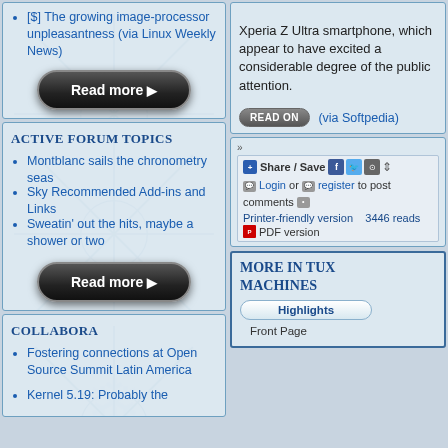[$] The growing image-processor unpleasantness (via Linux Weekly News)
[Figure (screenshot): Read more button (dark pill-shaped button)]
Active Forum Topics
Montblanc sails the chronometry seas
Sky Recommended Add-ins and Links
Sweatin' out the hits, maybe a shower or two
[Figure (screenshot): Read more button (dark pill-shaped button)]
Collabora
Fostering connections at Open Source Summit Latin America
Kernel 5.19: Probably the
Xperia Z Ultra smartphone, which appear to have excited a considerable degree of the public attention.
[Figure (screenshot): READ ON button and via Softpedia link]
[Figure (screenshot): Share/Save bar with Facebook, Twitter icons; Login or register to post comments; Printer-friendly version 3446 reads; PDF version]
More in Tux Machines
Highlights
Front Page